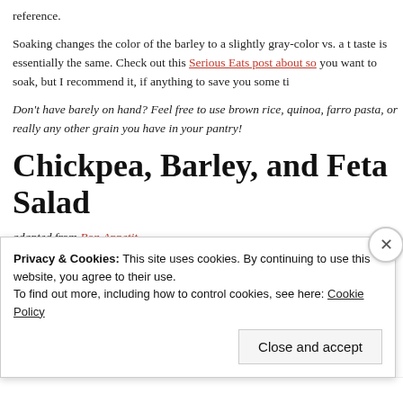reference.
Soaking changes the color of the barley to a slightly gray-color vs. a t taste is essentially the same. Check out this Serious Eats post about so you want to soak, but I recommend it, if anything to save you some ti
Don't have barely on hand? Feel free to use brown rice, quinoa, farro pasta, or really any other grain you have in your pantry!
Chickpea, Barley, and Feta Salad
adapted from Bon Appetit
makes about 4 servings
NOTE: I didn't use all of the barley that I cooked. That was my p
Privacy & Cookies: This site uses cookies. By continuing to use this website, you agree to their use.
To find out more, including how to control cookies, see here: Cookie Policy
Close and accept